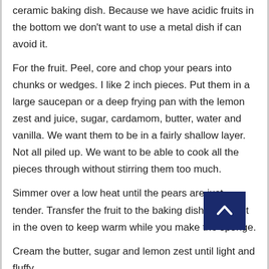ceramic baking dish. Because we have acidic fruits in the bottom we don't want to use a metal dish if can avoid it.
For the fruit. Peel, core and chop your pears into chunks or wedges. I like 2 inch pieces. Put them in a large saucepan or a deep frying pan with the lemon zest and juice, sugar, cardamom, butter, water and vanilla. We want them to be in a fairly shallow layer. Not all piled up. We want to be able to cook all the pieces through without stirring them too much.
Simmer over a low heat until the pears are just tender. Transfer the fruit to the baking dish and put it in the oven to keep warm while you make the sponge.
Cream the butter, sugar and lemon zest until light and fluffy.